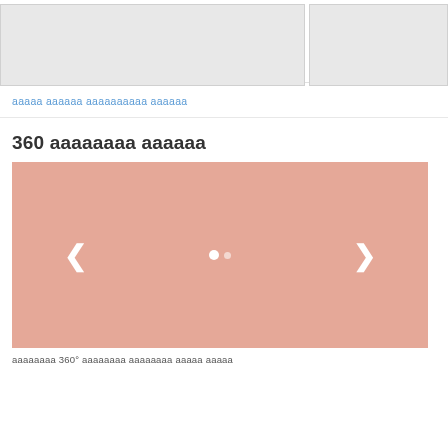[Figure (photo): Two grey placeholder image boxes at the top of the page, one wider on the left and one narrower on the right]
ааааа аааааа аааааааааа аааааа
360 аааааааа аааааа
[Figure (screenshot): 360 degree viewer with salmon/pink background, left and right arrow navigation controls, and dot indicators in the center]
аааааааа 360° аааааааа аааааааа ааааа ааааа